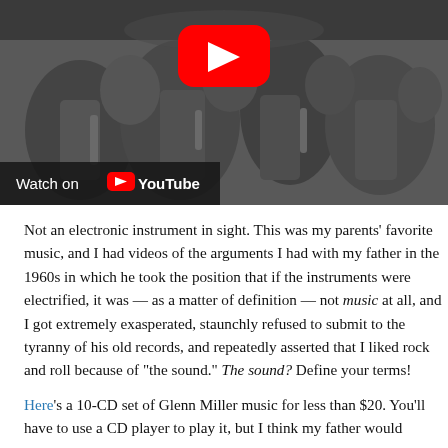[Figure (screenshot): Black and white YouTube video thumbnail showing a jazz band or orchestra, with a red YouTube play button icon in the center. A 'Watch on YouTube' bar with YouTube logo appears at the bottom left of the thumbnail.]
Not an electronic instrument in sight. This was my parents' favorite music, and I had videos of the arguments I had with my father in the 1960s in which he took the position that if the instruments were electrified, it was — as a matter of definition — not music at all, and I got extremely exasperated, staunchly refused to submit to the tyranny of his old records, and repeatedly asserted that I liked rock and roll because of "the sound." The sound? Define your terms!
Here's a 10-CD set of Glenn Miller music for less than $20. You'll have to use a CD player to play it, but I think my father would approve.